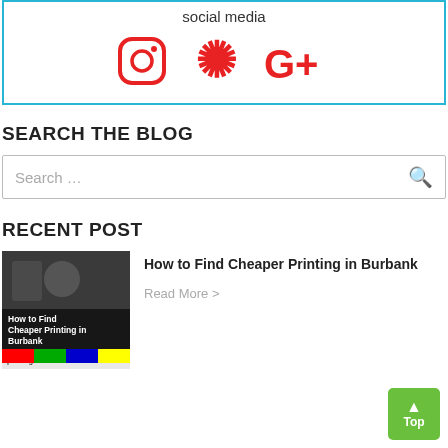social media
[Figure (infographic): Three red social media icons: Instagram, Yelp, and Google Plus arranged horizontally inside a cyan-bordered box]
SEARCH THE BLOG
Search ...
RECENT POST
[Figure (photo): Thumbnail image for blog post 'How to Find Cheaper Printing in Burbank' showing printing equipment and colorful paper]
How to Find Cheaper Printing in Burbank
Read More >